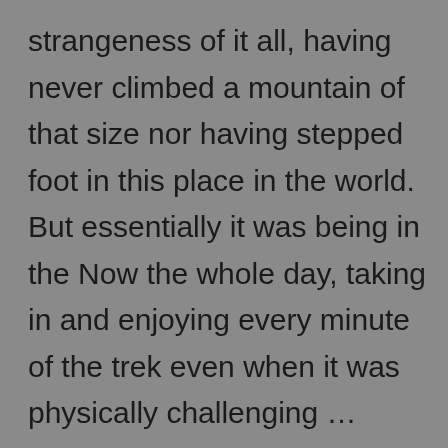strangeness of it all, having never climbed a mountain of that size nor having stepped foot in this place in the world. But essentially it was being in the Now the whole day, taking in and enjoying every minute of the trek even when it was physically challenging … especially when it was physically challenging.

I also want to mention the great